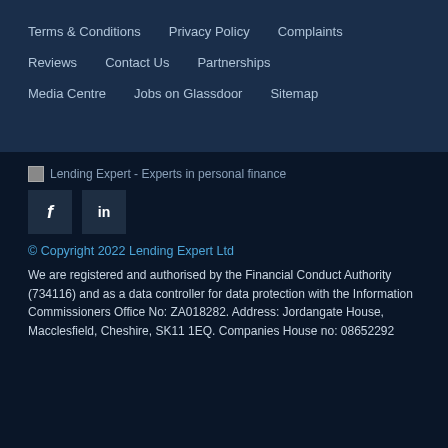Terms & Conditions
Privacy Policy
Complaints
Reviews
Contact Us
Partnerships
Media Centre
Jobs on Glassdoor
Sitemap
[Figure (logo): Lending Expert - Experts in personal finance logo (broken image placeholder)]
[Figure (illustration): Facebook and LinkedIn social media icon buttons]
© Copyright 2022 Lending Expert Ltd
We are registered and authorised by the Financial Conduct Authority (734116) and as a data controller for data protection with the Information Commissioners Office No: ZA018282. Address: Jordangate House, Macclesfield, Cheshire, SK11 1EQ. Companies House no: 08652292